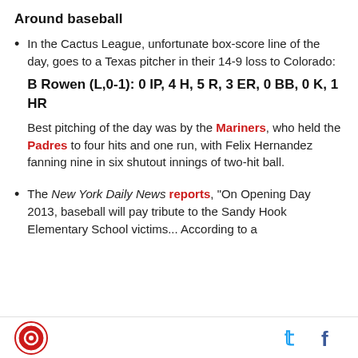Around baseball
In the Cactus League, unfortunate box-score line of the day, goes to a Texas pitcher in their 14-9 loss to Colorado:
B Rowen (L,0-1): 0 IP, 4 H, 5 R, 3 ER, 0 BB, 0 K, 1 HR
Best pitching of the day was by the Mariners, who held the Padres to four hits and one run, with Felix Hernandez fanning nine in six shutout innings of two-hit ball.
The New York Daily News reports, "On Opening Day 2013, baseball will pay tribute to the Sandy Hook Elementary School victims... According to a